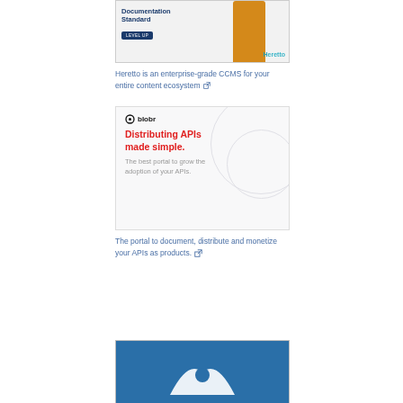[Figure (illustration): Heretto advertisement banner showing 'Documentation Standard' text, a person in yellow/orange top, a 'LEVEL UP' button, and the Heretto logo]
Heretto is an enterprise-grade CCMS for your entire content ecosystem ⧉
[Figure (illustration): Blobr advertisement banner with logo, headline 'Distributing APIs made simple.' and subtext 'The best portal to grow the adoption of your APIs.']
The portal to document, distribute and monetize your APIs as products. ⧉
[Figure (illustration): Partial blue advertisement banner at bottom of page]